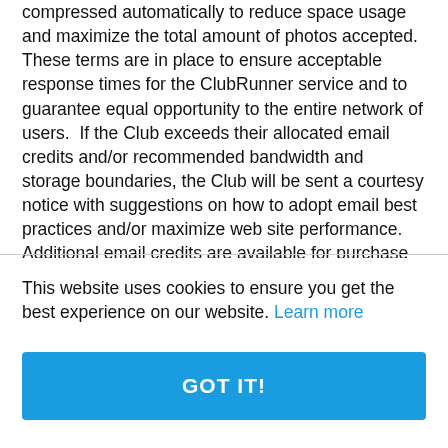compressed automatically to reduce space usage and maximize the total amount of photos accepted. These terms are in place to ensure acceptable response times for the ClubRunner service and to guarantee equal opportunity to the entire network of users.  If the Club exceeds their allocated email credits and/or recommended bandwidth and storage boundaries, the Club will be sent a courtesy notice with suggestions on how to adopt email best practices and/or maximize web site performance. Additional email credits are available for purchase at a pro-rated fee for the remainder of your subscription. More information can
This website uses cookies to ensure you get the best experience on our website. Learn more
GOT IT!